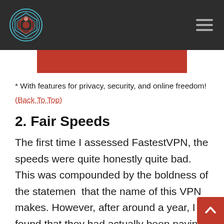[Figure (other): Red banner/button element]
* With features for privacy, security, and online freedom!
(Back To Top)
2. Fair Speeds
The first time I assessed FastestVPN, the speeds were quite honestly quite bad. This was compounded by the boldness of the statement that the name of this VPN makes. However, after around a year, I found that they had actually been paying attention to feedback and ramping